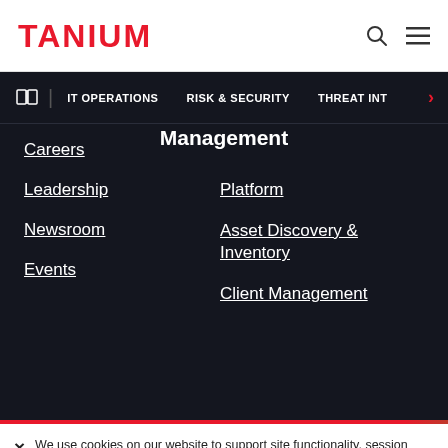TANIUM
IT OPERATIONS
RISK & SECURITY
THREAT INT
Management
Careers
Platform
Leadership
Asset Discovery & Inventory
Newsroom
Client Management
Events
We use cookies on our website to support site functionality, session authentication, and to perform analytics. By continuing to use this site you are giving us your consent to do this.
Learn More  |  Adjust Cookie Preferences